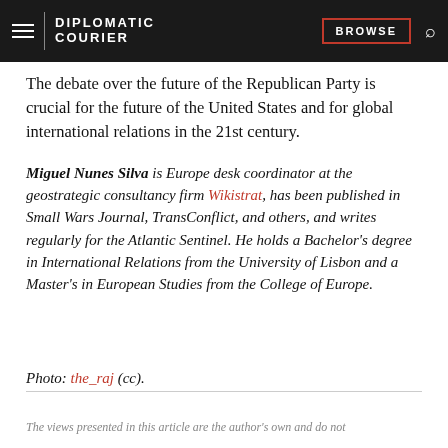DIPLOMATIC COURIER | BROWSE
The debate over the future of the Republican Party is crucial for the future of the United States and for global international relations in the 21st century.
Miguel Nunes Silva is Europe desk coordinator at the geostrategic consultancy firm Wikistrat, has been published in Small Wars Journal, TransConflict, and others, and writes regularly for the Atlantic Sentinel. He holds a Bachelor's degree in International Relations from the University of Lisbon and a Master's in European Studies from the College of Europe.
Photo: the_raj (cc).
The views presented in this article are the author's own and do not